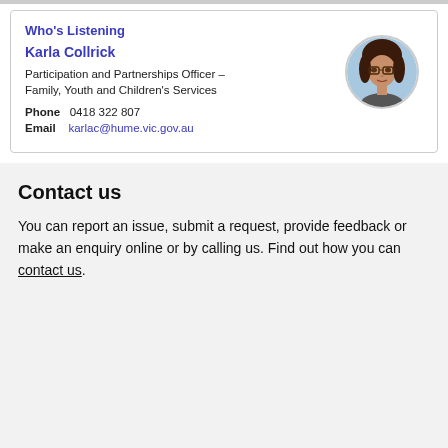Who's Listening
Karla Collrick
Participation and Partnerships Officer – Family, Youth and Children's Services
Phone 0418 322 807
Email karlac@hume.vic.gov.au
[Figure (photo): Circular profile photo of Karla Collrick, a woman with dark hair and glasses]
Contact us
You can report an issue, submit a request, provide feedback or make an enquiry online or by calling us. Find out how you can contact us.